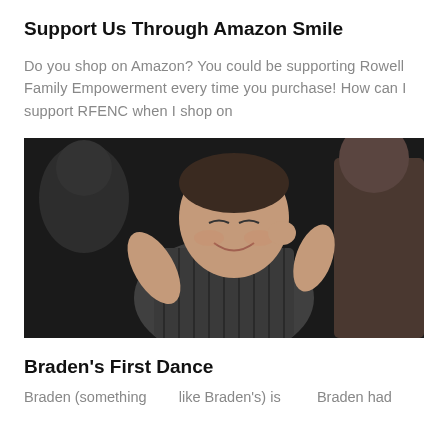Support Us Through Amazon Smile
Do you shop on Amazon? You could be supporting Rowell Family Empowerment every time you purchase! How can I support RFENC when I shop on
[Figure (photo): A young man dancing at an event, smiling with eyes closed, wearing a dark striped shirt, with other people in the background]
Braden's First Dance
Braden (something like Braden's) is ... Braden had ...